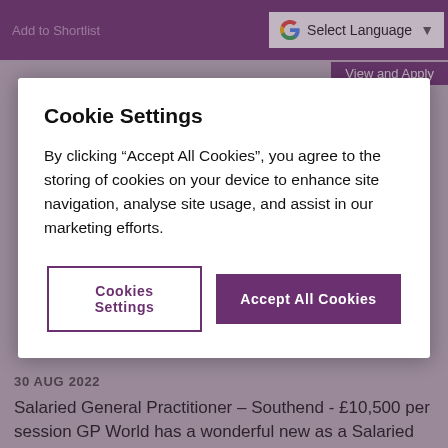[Figure (screenshot): Purple top navigation bar with Google Translate 'Select Language' button on the right, and faint text 'Add to Shortlist' on the left and 'View and Apply' on the right in the background]
Cookie Settings
By clicking “Accept All Cookies”, you agree to the storing of cookies on your device to enhance site navigation, analyse site usage, and assist in our marketing efforts.
Cookies Settings
Accept All Cookies
30 AUG 2022
Salaried General Practitioner – Southend - £10,500 per session GP World has a wonderful new as a Salaried General Practitioner in Southend at an amazing £10,500 per session Rate: £10,500 per sessionn per annum Hours : up to 8 sessions. hours